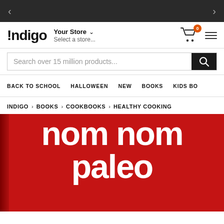< >
[Figure (logo): Indigo bookstore logo with exclamation mark]
Your Store ∨ Select a store...
Search over 15 million products...
BACK TO SCHOOL   HALLOWEEN   NEW   BOOKS   KIDS BO
INDIGO > BOOKS > COOKBOOKS > HEALTHY COOKING
[Figure (photo): Book cover of 'nom nom paleo' cookbook with white bold text on red background]